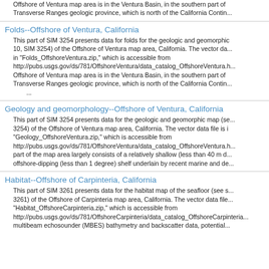Offshore of Ventura map area is in the Ventura Basin, in the southern part of the Transverse Ranges geologic province, which is north of the California Contin...
Folds--Offshore of Ventura, California
This part of SIM 3254 presents data for folds for the geologic and geomorphic map (sheet 10, SIM 3254) of the Offshore of Ventura map area, California. The vector data file is in "Folds_OffshoreVentura.zip," which is accessible from http://pubs.usgs.gov/ds/781/OffshoreVentura/data_catalog_OffshoreVentura.h... Offshore of Ventura map area is in the Ventura Basin, in the southern part of the Transverse Ranges geologic province, which is north of the California Contin... ...
Geology and geomorphology--Offshore of Ventura, California
This part of SIM 3254 presents data for the geologic and geomorphic map (se... 3254) of the Offshore of Ventura map area, California. The vector data file is in "Geology_OffshoreVentura.zip," which is accessible from http://pubs.usgs.gov/ds/781/OffshoreVentura/data_catalog_OffshoreVentura.h... part of the map area largely consists of a relatively shallow (less than 40 m d... offshore-dipping (less than 1 degree) shelf underlain by recent marine and de...
Habitat--Offshore of Carpinteria, California
This part of SIM 3261 presents data for the habitat map of the seafloor (see s... 3261) of the Offshore of Carpinteria map area, California. The vector data file... "Habitat_OffshoreCarpinteria.zip," which is accessible from http://pubs.usgs.gov/ds/781/OffshoreCarpinteria/data_catalog_OffshoreCarpi... multibeam echosounder (MBES) bathymetry and backscatter data, potential...